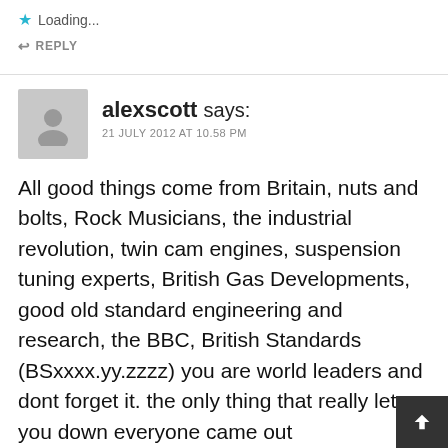Loading...
REPLY
alexscott says:
21 JULY 2012 AT 10.58 PM
All good things come from Britain, nuts and bolts, Rock Musicians, the industrial revolution, twin cam engines, suspension tuning experts, British Gas Developments, good old standard engineering and research, the BBC, British Standards (BSxxxx.yy.zzzz) you are world leaders and dont forget it. the only thing that really let you down everyone came out